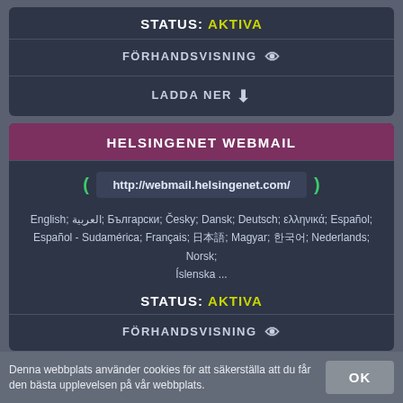STATUS: AKTIVA
FÖRHANDSVISNING 👁
LADDA NER ⬇
HELSINGENET WEBMAIL
http://webmail.helsingenet.com/
English; العربية; Български; Česky; Dansk; Deutsch; ελληνικά; Español; Español - Sudamérica; Français; 日本語; Magyar; 한국어; Nederlands; Norsk; Íslenska ...
STATUS: AKTIVA
FÖRHANDSVISNING 👁
Denna webbplats använder cookies för att säkerställa att du får den bästa upplevelsen på vår webbplats.